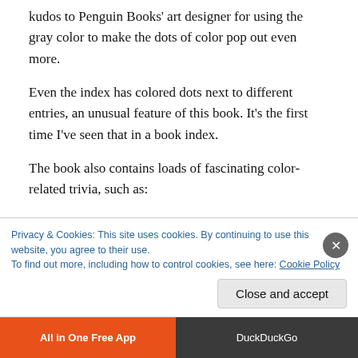kudos to Penguin Books' art designer for using the gray color to make the dots of color pop out even more.
Even the index has colored dots next to different entries, an unusual feature of this book. It's the first time I've seen that in a book index.
The book also contains loads of fascinating color-related trivia, such as:
Baker-Miller pink seemed to calm down criminals when it was used to paint a Seattle, Washington holding cell
Privacy & Cookies: This site uses cookies. By continuing to use this website, you agree to their use.
To find out more, including how to control cookies, see here: Cookie Policy
Close and accept
All in One Free App | DuckDuckGo